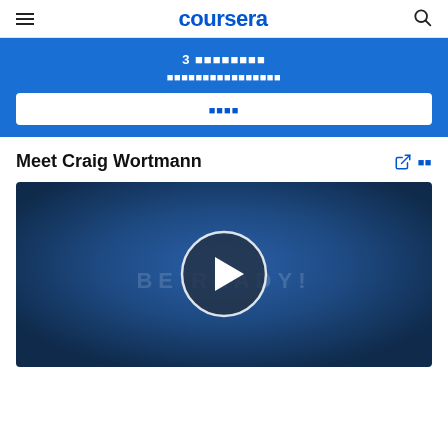coursera
3 ■■■■■■■■ ■■■■■■■■■■■■■■■■
■■■■
Meet Craig Wortmann
[Figure (screenshot): Video thumbnail with dark blue gradient background showing a play button circle and text 'BE READY!' partially visible behind the play button]